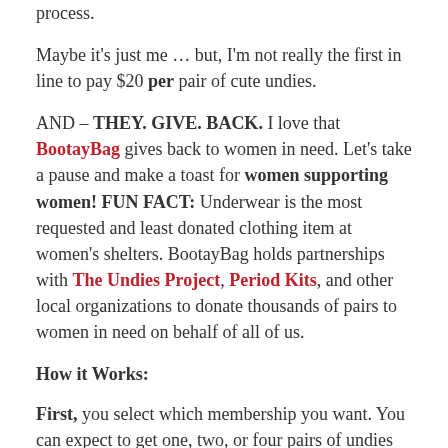process.
Maybe it's just me … but, I'm not really the first in line to pay $20 per pair of cute undies.
AND – THEY. GIVE. BACK. I love that BootayBag gives back to women in need. Let's take a pause and make a toast for women supporting women! FUN FACT: Underwear is the most requested and least donated clothing item at women's shelters. BootayBag holds partnerships with The Undies Project, Period Kits, and other local organizations to donate thousands of pairs to women in need on behalf of all of us.
How it Works:
First, you select which membership you want. You can expect to get one, two, or four pairs of undies based on your subscription.